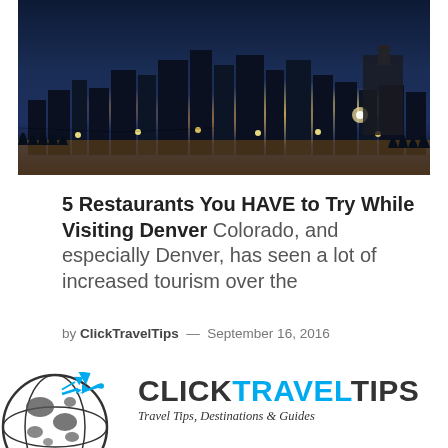[Figure (photo): Nighttime aerial/skyline photo of Denver city with orange and yellow city lights glowing against a dark blue evening sky]
5 Restaurants You HAVE to Try While Visiting Denver
Colorado, and especially Denver, has seen a lot of increased tourism over the
by ClickTravelTips — September 16, 2016
[Figure (logo): ClickTravelTips logo with globe and airplane icon, text reading CLICKTRAVELTIPS and tagline Travel Tips, Destinations & Guides]